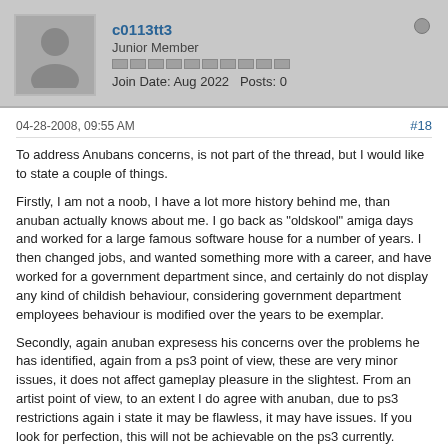c0113tt3 | Junior Member | Join Date: Aug 2022 Posts: 0
04-28-2008, 09:55 AM  #18
To address Anubans concerns, is not part of the thread, but I would like to state a couple of things.

Firstly, I am not a noob, I have a lot more history behind me, than anuban actually knows about me. I go back as "oldskool" amiga days and worked for a large famous software house for a number of years. I then changed jobs, and wanted something more with a career, and have worked for a government department since, and certainly do not display any kind of childish behaviour, considering government department employees behaviour is modified over the years to be exemplar.

Secondly, again anuban expresess his concerns over the problems he has identified, again from a ps3 point of view, these are very minor issues, it does not affect gameplay pleasure in the slightest. From an artist point of view, to an extent I do agree with anuban, due to ps3 restrictions again i state it may be flawless, it may have issues. If you look for perfection, this will not be achievable on the ps3 currently.

Even epic has not perfected Unreal 3 on the pc or ps3 either, as there